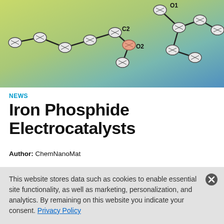[Figure (illustration): Molecular structure diagram showing atoms and bonds with labels C2, O1, O2 on a gradient green-blue background]
NEWS
Iron Phosphide Electrocatalysts
Author: ChemNanoMat
Iron phosphide nanoparticles show promise as electrocatalysts, for example, for the hydrogen evolution reaction (HER). One way to
This website stores data such as cookies to enable essential site functionality, as well as marketing, personalization, and analytics. By remaining on this website you indicate your consent. Privacy Policy